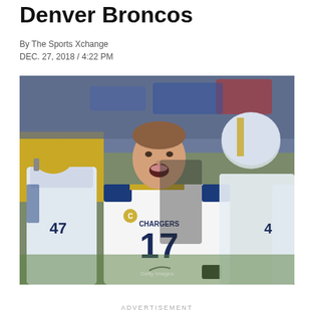Denver Broncos
By The Sports Xchange
DEC. 27, 2018 / 4:22 PM
[Figure (photo): Los Angeles Chargers quarterback Philip Rivers (#17) in a white Chargers jersey with gold and blue accents, shouting with mouth open on the sideline, surrounded by teammates in similar uniforms including player #47 to his left, and other players/staff in the background.]
ADVERTISEMENT